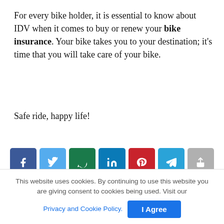For every bike holder, it is essential to know about IDV when it comes to buy or renew your bike insurance. Your bike takes you to your destination; it's time that you will take care of your bike.
Safe ride, happy life!
[Figure (other): Social sharing buttons: Facebook, Twitter, WhatsApp, LinkedIn, Pinterest, Telegram, Share]
Previous Post
Which is the Right Social Media Platform for Ecommerce Marketing?
This website uses cookies. By continuing to use this website you are giving consent to cookies being used. Visit our Privacy and Cookie Policy.